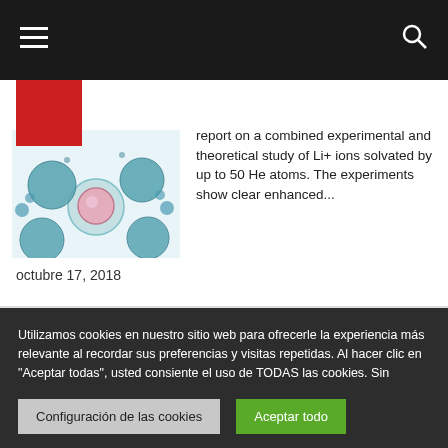Navigation bar with menu and search icons
[Figure (photo): Scientific microscopy image showing spherical structures, appearing to be helium atoms solvating Li+ ions, with teal/blue bubble-like spheres and a pink central structure]
report on a combined experimental and theoretical study of Li+ ions solvated by up to 50 He atoms. The experiments show clear enhanced...
octubre 17, 2018
Utilizamos cookies en nuestro sitio web para ofrecerle la experiencia más relevante al recordar sus preferencias y visitas repetidas. Al hacer clic en "Aceptar todas", usted consiente el uso de TODAS las cookies. Sin embargo, puede visitar "Configuración de cookies" para dar un consentimiento controlado.
Configuración de las cookies
Aceptar todo